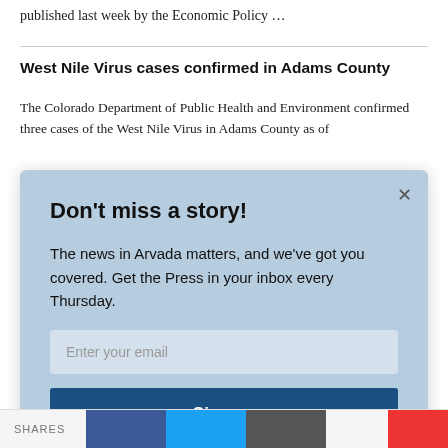published last week by the Economic Policy …
West Nile Virus cases confirmed in Adams County
The Colorado Department of Public Health and Environment confirmed three cases of the West Nile Virus in Adams County as of
[Figure (screenshot): Email newsletter sign-up modal overlay with light blue background. Contains title 'Don't miss a story!', body text 'The news in Arvada matters, and we've got you covered. Get the Press in your inbox every Thursday.', an email input field with placeholder 'Enter your email', and a dark blue 'Sign up' button. A close (X) button is in the top-right corner.]
SHARES